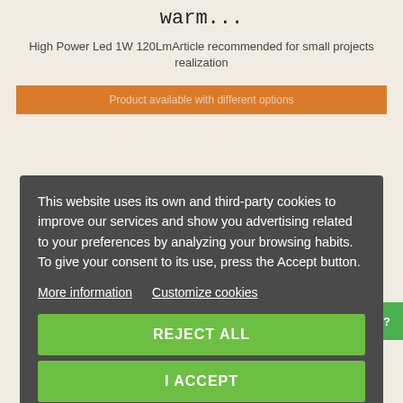warm...
High Power Led 1W 120LmArticle recommended for small projects realization
Product available with different options
Compare
This website uses its own and third-party cookies to improve our services and show you advertising related to your preferences by analyzing your browsing habits. To give your consent to its use, press the Accept button.
More information   Customize cookies
REJECT ALL
I ACCEPT
Questions?Contact me on WhatsApp?